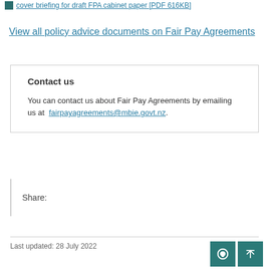cover briefing for draft FPA cabinet paper [PDF 616KB]
View all policy advice documents on Fair Pay Agreements
Contact us
You can contact us about Fair Pay Agreements by emailing us at fairpayagreements@mbie.govt.nz.
Share:
Last updated: 28 July 2022